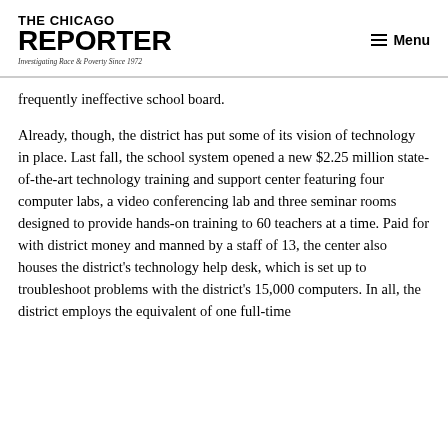THE CHICAGO REPORTER — Investigating Race & Poverty Since 1972 | Menu
frequently ineffective school board.
Already, though, the district has put some of its vision of technology in place. Last fall, the school system opened a new $2.25 million state-of-the-art technology training and support center featuring four computer labs, a video conferencing lab and three seminar rooms designed to provide hands-on training to 60 teachers at a time. Paid for with district money and manned by a staff of 13, the center also houses the district's technology help desk, which is set up to troubleshoot problems with the district's 15,000 computers. In all, the district employs the equivalent of one full-time